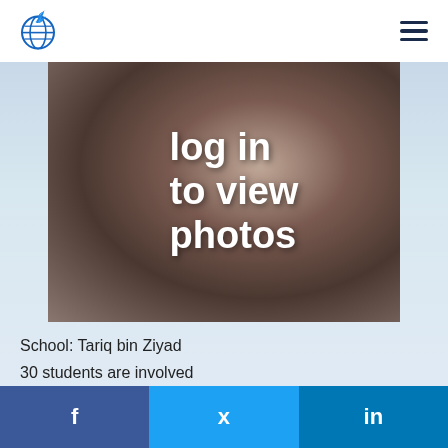Logo and navigation menu
[Figure (photo): Blurred photo placeholder with text 'log in to view photos' overlaid in white bold text on a brownish blurred background]
School: Tariq bin Ziyad
30 students are involved
The average age of the students: 16 Year
Facebook | Twitter | LinkedIn social share buttons